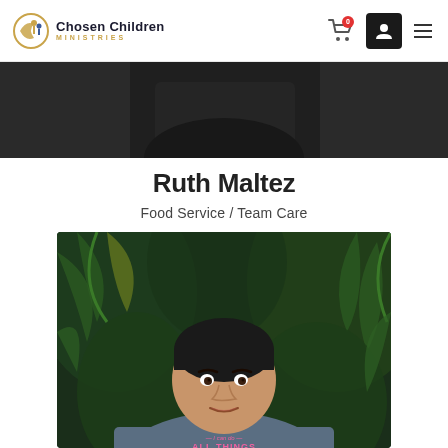Chosen Children Ministries
[Figure (photo): Partial photo strip at top of page, cropped person in dark shirt]
Ruth Maltez
Food Service / Team Care
[Figure (photo): Portrait photo of Ruth Maltez, a woman in a gray t-shirt that reads 'I can do ALL THINGS', standing in front of lush green tropical plants]